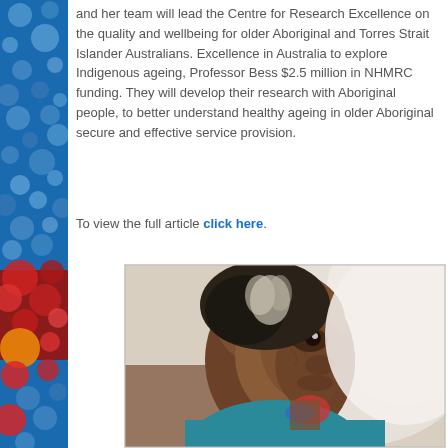and her team will lead the Centre for Research Excellence on the quality and wellbeing for older Aboriginal and Torres Strait Islander Australians. Excellence in Australia to explore Indigenous ageing, Professor Bess $2.5 million in NHMRC funding. They will develop their research with Aboriginal people, to better understand healthy ageing in older Aboriginal secure and effective service provision.
To view the full article click here.
[Figure (photo): Close-up portrait photo of an elderly Aboriginal woman looking upward, with grey-streaked dark hair, wearing a teal/blue top, against a white background.]